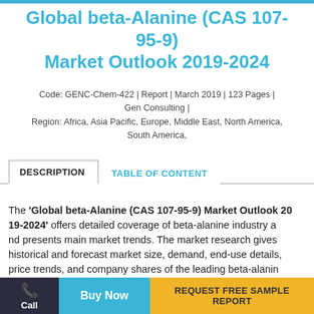Global beta-Alanine (CAS 107-95-9) Market Outlook 2019-2024
Code: GENC-Chem-422 | Report | March 2019 | 123 Pages | Gen Consulting | Region: Africa, Asia Pacific, Europe, Middle East, North America, South America,
DESCRIPTION
TABLE OF CONTENT
The 'Global beta-Alanine (CAS 107-95-9) Market Outlook 2019-2024' offers detailed coverage of beta-alanine industry and presents main market trends. The market research gives historical and forecast market size, demand, end-use details, price trends, and company shares of the leading beta-alanine producers to provide exhaustive coverage of the market fo...